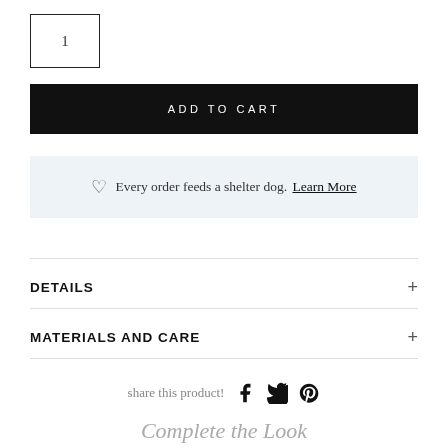1
ADD TO CART
Every order feeds a shelter dog. Learn More
DETAILS
MATERIALS AND CARE
share this product!